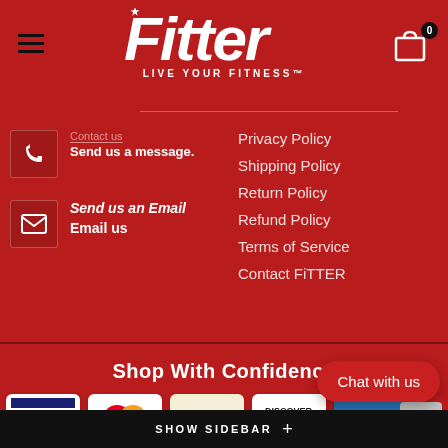Fitter — LIVE YOUR FITNESS™
Send us a message.
Send us an Email
Email us
Privacy Policy
Shipping Policy
Return Policy
Refund Policy
Terms of Service
Contact FiTTER
Shop With Confidence
[Figure (other): Payment method logos: Visa, MasterCard, PayPal, Discover Financial Services, American Express]
SHOW SIDEBAR +